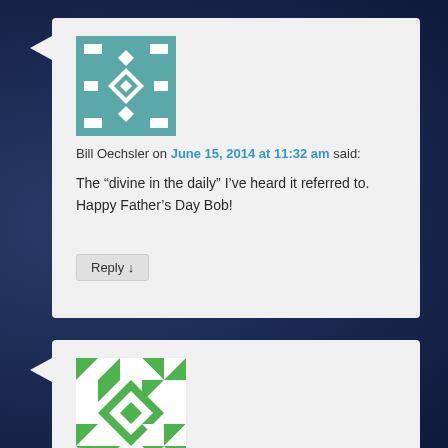[Figure (illustration): Teal geometric mosaic avatar for Bill Oechsler]
Bill Oechsler on June 15, 2014 at 11:32 am said:
The “divine in the daily” I’ve heard it referred to. Happy Father’s Day Bob!
Reply ↓
[Figure (illustration): Green geometric mosaic avatar for Wendy]
Wendy on June 23, 2014 at 9:08 am said:
Beautiful Meg! So true. Thanks for the reminder of what it means to be a real Dad. I’m glad you have one and you get to see one in your hubby. I’m lucky to have one too. You made my day with this